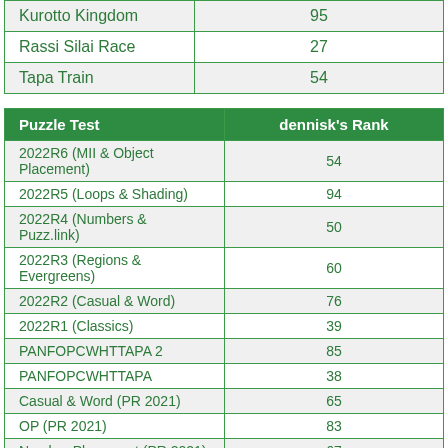|  |  |
| --- | --- |
| Kurotto Kingdom | 95 |
| Rassi Silai Race | 27 |
| Tapa Train | 54 |
| Puzzle Test | dennisk's Rank |
| --- | --- |
| 2022R6 (MII & Object Placement) | 54 |
| 2022R5 (Loops & Shading) | 94 |
| 2022R4 (Numbers & Puzz.link) | 50 |
| 2022R3 (Regions & Evergreens) | 60 |
| 2022R2 (Casual & Word) | 76 |
| 2022R1 (Classics) | 39 |
| PANFOPCWHTTAPA 2 | 85 |
| PANFOPCWHTTAPA | 38 |
| Casual & Word (PR 2021) | 65 |
| OP (PR 2021) | 83 |
| Number Placement (PR 2021) | 67 |
| Loops (PR 2021) | 149 |
| Classics (PR 2021) | 37 |